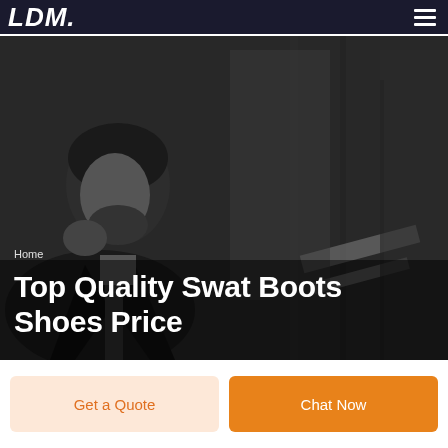LDM
[Figure (photo): Black and white photo of a man in a suit looking thoughtful, with blurred architectural background]
Home
Top Quality Swat Boots Shoes Price
Get a Quote
Chat Now